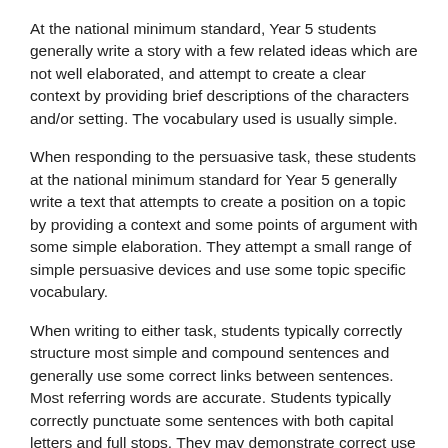At the national minimum standard, Year 5 students generally write a story with a few related ideas which are not well elaborated, and attempt to create a clear context by providing brief descriptions of the characters and/or setting. The vocabulary used is usually simple.
When responding to the persuasive task, these students at the national minimum standard for Year 5 generally write a text that attempts to create a position on a topic by providing a context and some points of argument with some simple elaboration. They attempt a small range of simple persuasive devices and use some topic specific vocabulary.
When writing to either task, students typically correctly structure most simple and compound sentences and generally use some correct links between sentences. Most referring words are accurate. Students typically correctly punctuate some sentences with both capital letters and full stops. They may demonstrate correct use of capitals for names and some other punctuation.
Students correctly spell most simple and common words.
top
Year 7